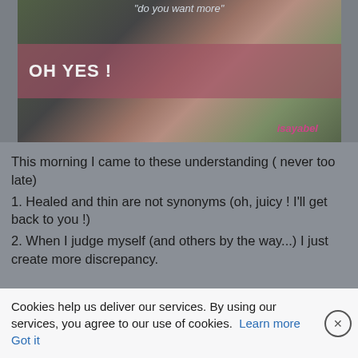[Figure (photo): A close-up photo of a person's face with a semi-transparent pink/red overlay bar containing the text 'OH YES !' and a watermark 'isayabel' at the bottom right. At the top center partial text 'do you want more' is visible.]
This morning I came to these understanding ( never too late)
1. Healed and thin are not synonyms (oh, juicy ! I'll get back to you !)
2. When I judge myself (and others by the way...) I just create more discrepancy.
Cookies help us deliver our services. By using our services, you agree to our use of cookies. Learn more  Got it